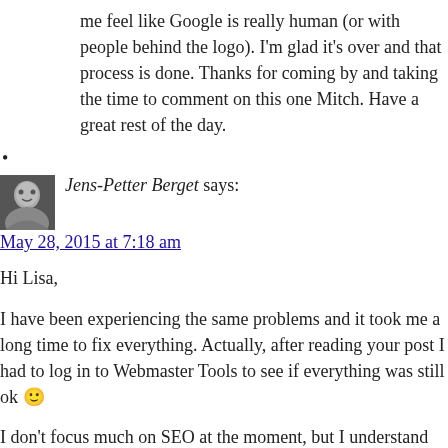me feel like Google is really human (or with people behind the logo). I'm glad it's over and that process is done. Thanks for coming by and taking the time to comment on this one Mitch. Have a great rest of the day.
•
Jens-Petter Berget says:
May 28, 2015 at 7:18 am
Hi Lisa,
I have been experiencing the same problems and it took me a long time to fix everything. Actually, after reading your post I had to log in to Webmaster Tools to see if everything was still ok 🙂
I don't focus much on SEO at the moment, but I understand how important it is and that Google is driving a lot of traffic to my blog. It's one thing to focus on SEO and do things right